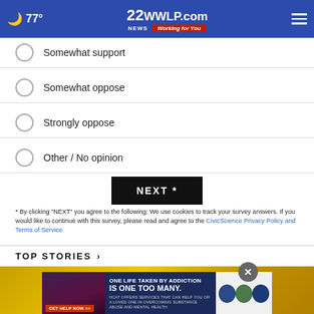77° WWLP.com Working for You
Somewhat support
Somewhat oppose
Strongly oppose
Other / No opinion
NEXT *
* By clicking "NEXT" you agree to the following: We use cookies to track your survey answers. If you would like to continue with this survey, please read and agree to the CivicScience Privacy Policy and Terms of Service
TOP STORIES ›
[Figure (photo): Yellow construction equipment or machinery, partially visible]
[Figure (infographic): Advertisement banner: ONE LIFE TAKEN BY ADDICTION IS ONE TOO MANY. HCAT offers services that can help you or a loved one in overcoming substance abuse and mental health. GET HELP NOW >> with law enforcement logos on right.]